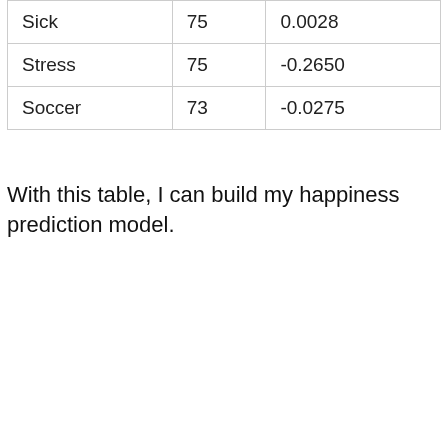| Sick | 75 | 0.0028 |
| Stress | 75 | -0.2650 |
| Soccer | 73 | -0.0275 |
With this table, I can build my happiness prediction model.
[Figure (other): A light gray placeholder box representing an image or chart area, with a dark gray scroll-to-top button in the upper right corner.]